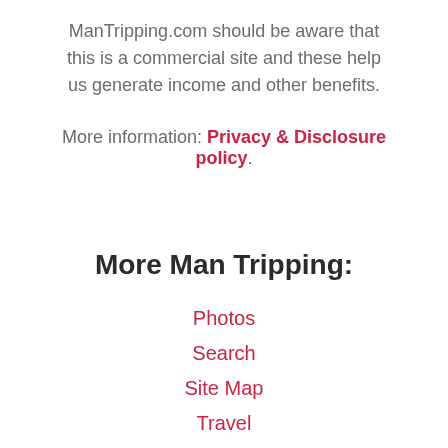ManTripping.com should be aware that this is a commercial site and these help us generate income and other benefits.
More information: Privacy & Disclosure policy.
More Man Tripping:
Photos
Search
Site Map
Travel
Food and Drink